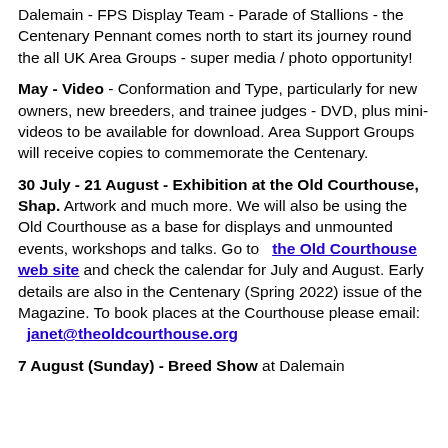Dalemain - FPS Display Team - Parade of Stallions - the Centenary Pennant comes north to start its journey round the all UK Area Groups - super media / photo opportunity!
May - Video - Conformation and Type, particularly for new owners, new breeders, and trainee judges - DVD, plus mini-videos to be available for download. Area Support Groups will receive copies to commemorate the Centenary.
30 July - 21 August - Exhibition at the Old Courthouse, Shap. Artwork and much more. We will also be using the Old Courthouse as a base for displays and unmounted events, workshops and talks. Go to the Old Courthouse web site and check the calendar for July and August. Early details are also in the Centenary (Spring 2022) issue of the Magazine. To book places at the Courthouse please email: janet@theoldcourthouse.org
7 August (Sunday) - Breed Show at Dalemain